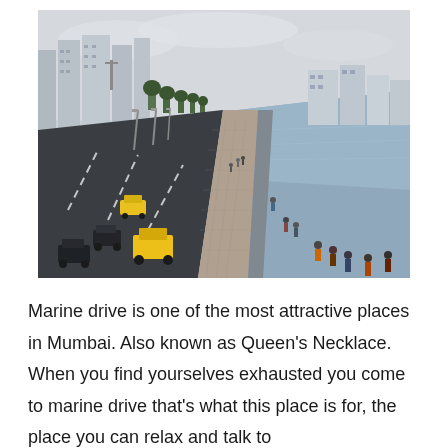[Figure (photo): Aerial view of Marine Drive (Queen's Necklace) in Mumbai, showing a multi-lane road alongside a waterfront promenade with pedestrians, cars including yellow taxis, and city buildings in the background along the Arabian Sea coastline.]
Marine drive is one of the most attractive places in Mumbai. Also known as Queen's Necklace. When you find yourselves exhausted you come to marine drive that's what this place is for, the place you can relax and talk to